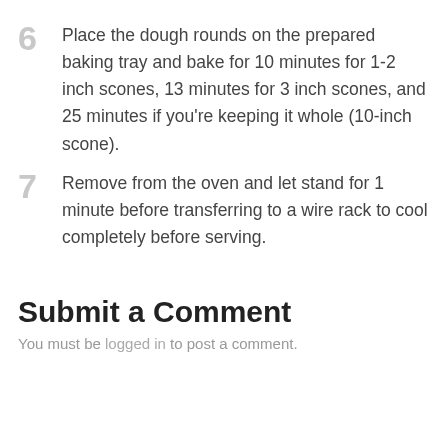6  Place the dough rounds on the prepared baking tray and bake for 10 minutes for 1-2 inch scones, 13 minutes for 3 inch scones, and 25 minutes if you're keeping it whole (10-inch scone).
7  Remove from the oven and let stand for 1 minute before transferring to a wire rack to cool completely before serving.
Submit a Comment
You must be logged in to post a comment.